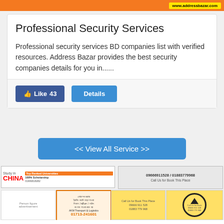www.addressbazar.com
Professional Security Services
Professional security services BD companies list with verified resources. Address Bazar provides the best security companies details for you in......
Like 43   Details
<< View All Service >>
[Figure (infographic): Study in CHINA - Top Ranked Universities - 100% Scholarship advertisement with phone number 01906818282]
[Figure (infographic): Ad showing phone numbers 09666911528 / 01883779968, Call Us for Book This Place]
[Figure (infographic): Person figure advertisement]
[Figure (infographic): AKM Transport & Logistics advertisement with phone 01713-241601]
[Figure (infographic): Yellow box ad with phone numbers]
[Figure (infographic): Yellow circle logo ad with phone numbers]